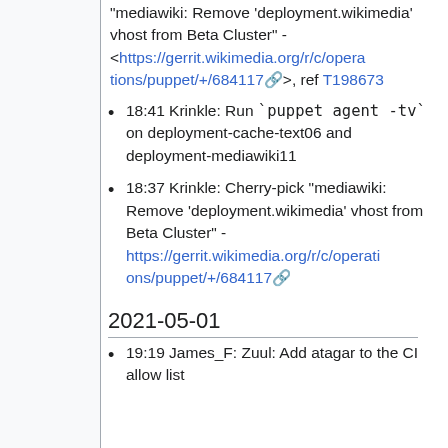"mediawiki: Remove 'deployment.wikimedia' vhost from Beta Cluster" - <https://gerrit.wikimedia.org/r/c/operations/puppet/+/684117>, ref T198673
18:41 Krinkle: Run `puppet agent -tv` on deployment-cache-text06 and deployment-mediawiki11
18:37 Krinkle: Cherry-pick "mediawiki: Remove 'deployment.wikimedia' vhost from Beta Cluster" - https://gerrit.wikimedia.org/r/c/operations/puppet/+/684117
2021-05-01
19:19 James_F: Zuul: Add atagar to the CI allow list